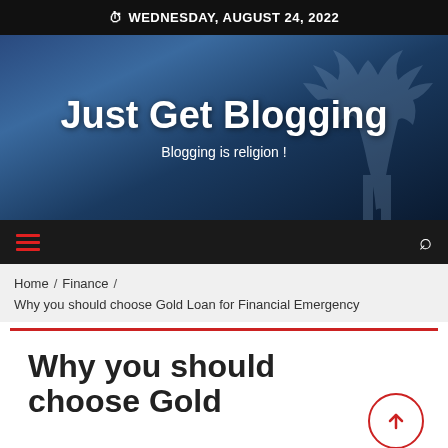WEDNESDAY, AUGUST 24, 2022
[Figure (illustration): Just Get Blogging website hero banner with dark blue background showing silhouette of a deer/elk]
Just Get Blogging
Blogging is religion !
Home / Finance / Why you should choose Gold Loan for Financial Emergency
Why you should choose Gold